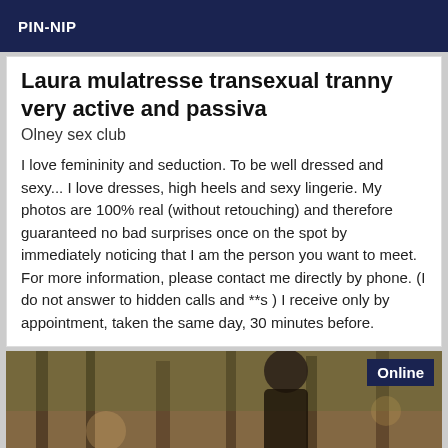PIN-NIP
Laura mulatresse transexual tranny very active and passiva
Olney sex club
I love femininity and seduction. To be well dressed and sexy... I love dresses, high heels and sexy lingerie. My photos are 100% real (without retouching) and therefore guaranteed no bad surprises once on the spot by immediately noticing that I am the person you want to meet. For more information, please contact me directly by phone. (I do not answer to hidden calls and **s ) I receive only by appointment, taken the same day, 30 minutes before.
[Figure (photo): Photo of a person outdoors among trees, with an Online badge in the top right corner]